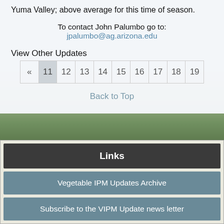Yuma Valley; above average for this time of season.
To contact John Palumbo go to: jpalumbo@ag.arizona.edu
View Other Updates
« 11 12 13 14 15 16 17 18 19
Back to Top
Links
Vegetable IPM Updates Archive
Subscribe to the VIPM Update news letter